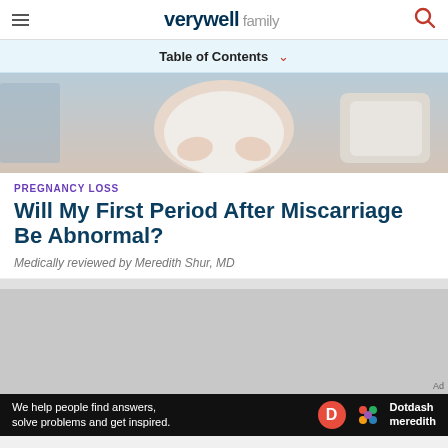verywell family
Table of Contents
[Figure (photo): Woman holding her abdomen, sitting on a couch, wearing a light top]
PREGNANCY LOSS
Will My First Period After Miscarriage Be Abnormal?
Medically reviewed by Meredith Shur, MD
[Figure (other): Gray advertisement placeholder area]
We help people find answers, solve problems and get inspired.
[Figure (logo): Dotdash Meredith logo with colored hexagon pattern and D icon]